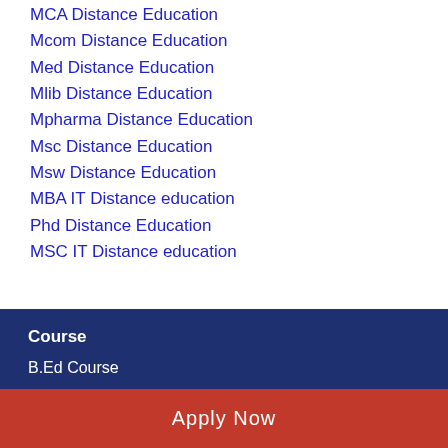MCA Distance Education
Mcom Distance Education
Med Distance Education
Mlib Distance Education
Mpharma Distance Education
Msc Distance Education
Msw Distance Education
MBA IT Distance education
Phd Distance Education
MSC IT Distance education
Course
B.Ed Course
Apply Now